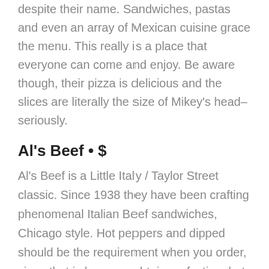despite their name. Sandwiches, pastas and even an array of Mexican cuisine grace the menu. This really is a place that everyone can come and enjoy. Be aware though, their pizza is delicious and the slices are literally the size of Mikey's head– seriously.
Al's Beef • $
Al's Beef is a Little Italy / Taylor Street classic. Since 1938 they have been crafting phenomenal Italian Beef sandwiches, Chicago style. Hot peppers and dipped should be the requirement when you order, since that is how you obtain perfection, but any form that you order it will put a smile on your face.
Mario's Italian Lemonade • $